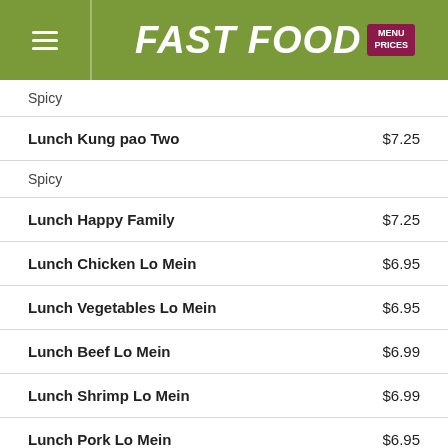FAST FOOD MENU PRICES
Spicy
Lunch Kung pao Two   $7.25
Spicy
Lunch Happy Family   $7.25
Lunch Chicken Lo Mein   $6.95
Lunch Vegetables Lo Mein   $6.95
Lunch Beef Lo Mein   $6.99
Lunch Shrimp Lo Mein   $6.99
Lunch Pork Lo Mein   $6.95
Lunch General Tao's Shrimp   $7.25